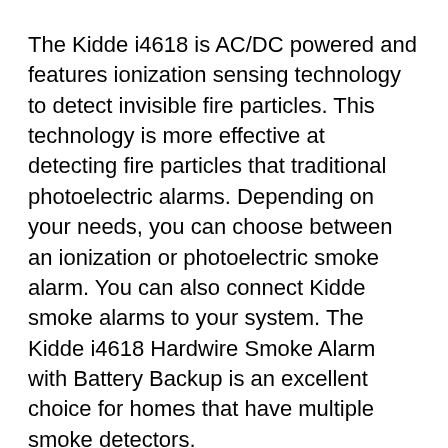The Kidde i4618 is AC/DC powered and features ionization sensing technology to detect invisible fire particles. This technology is more effective at detecting fire particles that traditional photoelectric alarms. Depending on your needs, you can choose between an ionization or photoelectric smoke alarm. You can also connect Kidde smoke alarms to your system. The Kidde i4618 Hardwire Smoke Alarm with Battery Backup is an excellent choice for homes that have multiple smoke detectors.
If you've ever accidentally inserted a file into your Kidde smoke alarm, you should remove it. You could endanger your device by storing the files. If your smoke alarm continues to